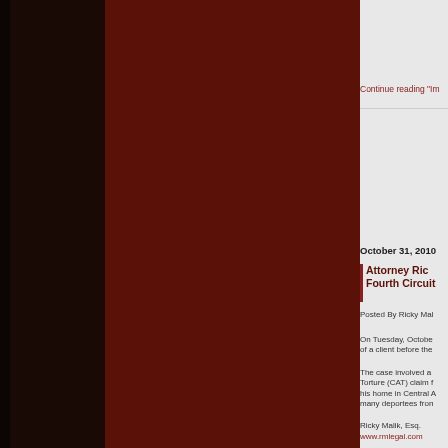Continue reading "Im
October 31, 2010
Attorney Ric Fourth Circuit
Posted By Ricky Mal
On Tuesday, Octobe of a client before the
The case involved a Torture (CAT) claim f his home in Central A many deportees fron
Ricky Malik, Esq.
www.rmlegal.com
Continue reading "At